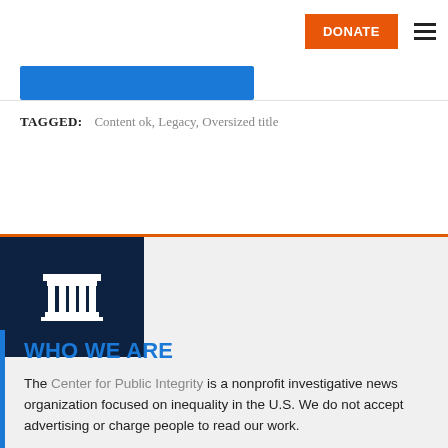DONATE  ≡
TAGGED:   Content ok, Legacy, Oversized title
[Figure (logo): Center for Public Integrity pillar/temple icon in white on dark navy background]
WHO WE ARE
The Center for Public Integrity is a nonprofit investigative news organization focused on inequality in the U.S. We do not accept advertising or charge people to read our work.